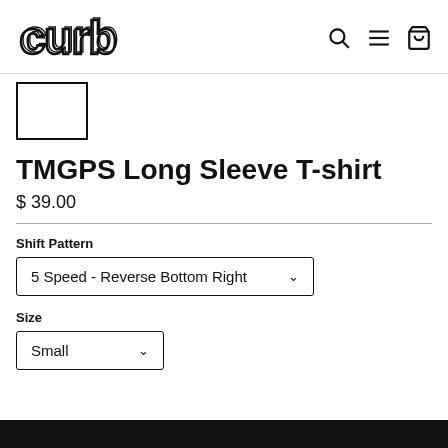curb — navigation header with search, menu, and cart icons
[Figure (screenshot): Small product thumbnail image placeholder (white rectangle with black border)]
TMGPS Long Sleeve T-shirt
$ 39.00
Shift Pattern
5 Speed - Reverse Bottom Right
Size
Small